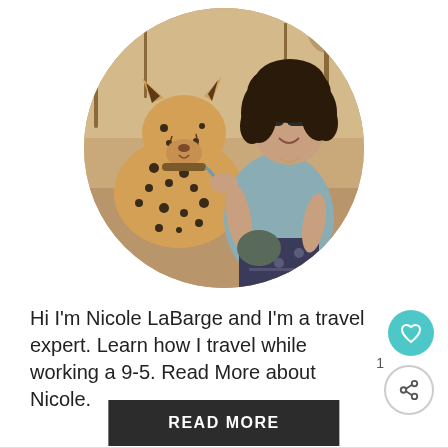[Figure (photo): Circular profile photo of Nicole LaBarge posing with a cheetah on a leash outdoors in a dry savanna-like setting. Nicole is wearing a light blue t-shirt and patterned pants. The cheetah is sitting beside her and she is smiling.]
Hi I'm Nicole LaBarge and I'm a travel expert. Learn how I travel while working a 9-5. Read More about Nicole.
READ MORE